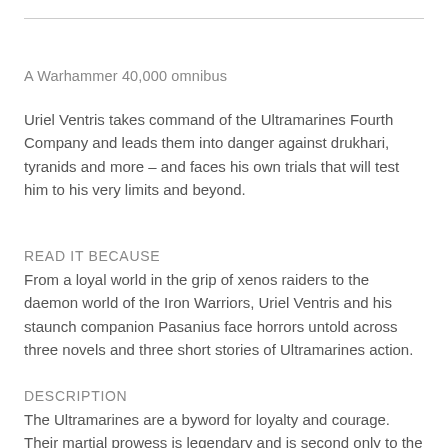A Warhammer 40,000 omnibus
Uriel Ventris takes command of the Ultramarines Fourth Company and leads them into danger against drukhari, tyranids and more – and faces his own trials that will test him to his very limits and beyond.
READ IT BECAUSE
From a loyal world in the grip of xenos raiders to the daemon world of the Iron Warriors, Uriel Ventris and his staunch companion Pasanius face horrors untold across three novels and three short stories of Ultramarines action.
DESCRIPTION
The Ultramarines are a byword for loyalty and courage. Their martial prowess is legendary and is second only to the God-Emperor. Graham McNeill has contributed a f…